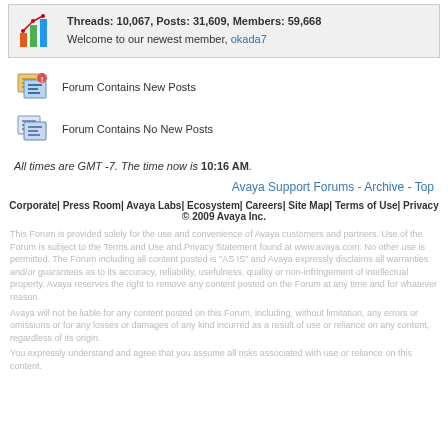Threads: 10,067, Posts: 31,609, Members: 59,668
Welcome to our newest member, okada7
Forum Contains New Posts
Forum Contains No New Posts
All times are GMT -7. The time now is 10:16 AM.
Avaya Support Forums - Archive - Top
Corporate| Press Room| Avaya Labs| Ecosystem| Careers| Site Map| Terms of Use| Privacy © 2009 Avaya Inc.
This Forum is provided solely for the use and convenience of Avaya customers and partners. Use of the Forum is subject to the Terms and Use and Privacy Statement found at www.avaya.com. No other use is permitted. The Forum including all content posted is "AS IS" and Avaya expressly disclaims all warranties and/or guarantees as to its accuracy, reliability, usefulness, quality or non-infringement of intellectual property. Avaya reserves the right to remove any content posted on the Forum at any time and for whatever reason.
Avaya will not be liable for any content posted on this Forum, including, without limitation, any errors or omissions or for any losses or damages of any kind incurred as a result of use or reliance on any content, regardless of its origin.
You expressly understand and agree that you assume all risks associated with use or reliance on this content.